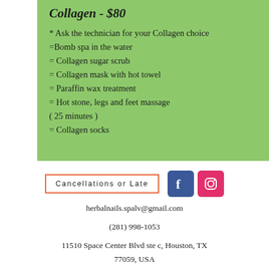Collagen - $80
* Ask the technician for your Collagen choice
=Bomb spa in the water
= Collagen sugar scrub
= Collagen mask with hot towel
= Paraffin wax treatment
= Hot stone, legs and feet massage
( 25 minutes )
= Collagen socks
Cancellations or Late
[Figure (logo): Facebook and Instagram social media icons]
herbalnails.spalv@gmail.com
(281) 998-1053
11510 Space Center Blvd ste c, Houston, TX 77059, USA